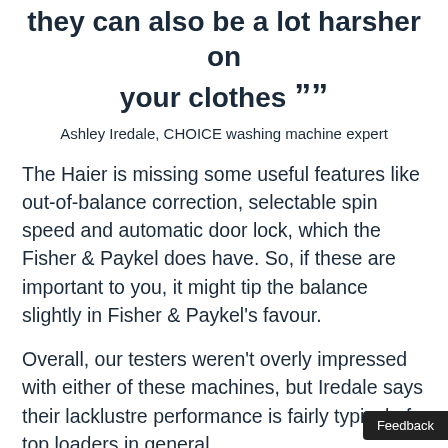they can also be a lot harsher on your clothes ””
Ashley Iredale, CHOICE washing machine expert
The Haier is missing some useful features like out-of-balance correction, selectable spin speed and automatic door lock, which the Fisher & Paykel does have. So, if these are important to you, it might tip the balance slightly in Fisher & Paykel's favour.
Overall, our testers weren't overly impressed with either of these machines, but Iredale says their lacklustre performance is fairly typical of top loaders in general.